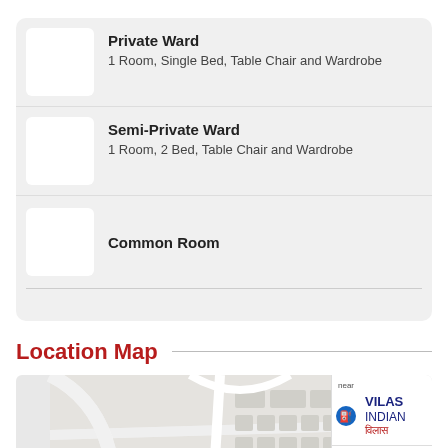Private Ward
1 Room, Single Bed, Table Chair and Wardrobe
Semi-Private Ward
1 Room, 2 Bed, Table Chair and Wardrobe
Common Room
Location Map
[Figure (map): Google Map showing location with a red pin marker, nearby streets and building blocks. A fuel station labeled VILAS INDIAN (विलास) is visible in the top-right panel.]